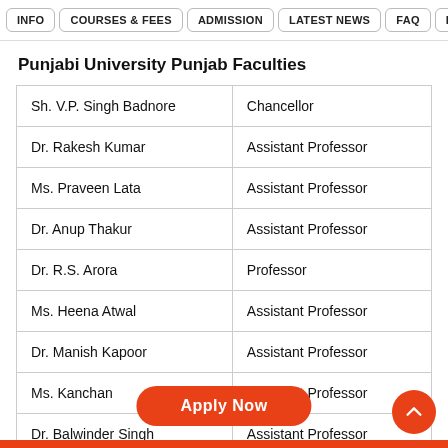INFO  COURSES & FEES  ADMISSION  LATEST NEWS  FAQ  DIST
Punjabi University Punjab Faculties
| Sh. V.P. Singh Badnore | Chancellor |
| Dr. Rakesh Kumar | Assistant Professor |
| Ms. Praveen Lata | Assistant Professor |
| Dr. Anup Thakur | Assistant Professor |
| Dr. R.S. Arora | Professor |
| Ms. Heena Atwal | Assistant Professor |
| Dr. Manish Kapoor | Assistant Professor |
| Ms. Kanchan | Assistant Professor |
| Dr. Balwinder Singh | Assistant Professor |